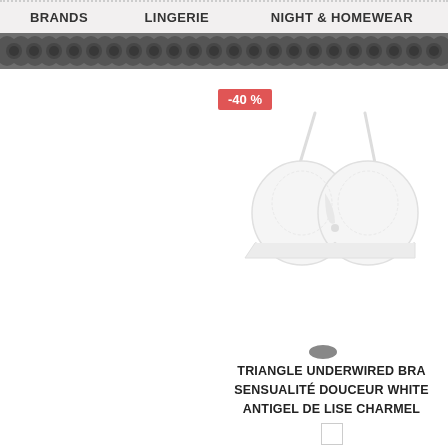BRANDS   LINGERIE   NIGHT & HOMEWEAR
[Figure (photo): Decorative lace banner/divider image in dark gray/black tones]
-40 %
[Figure (photo): White triangle underwired bra product photo on white background]
TRIANGLE UNDERWIRED BRA
SENSUALITÉ DOUCEUR WHITE
ANTIGEL DE LISE CHARMEL
[Figure (other): Color swatch selector - gray/dark circle and white square]
65,10 € TTC   39,06 € TTC